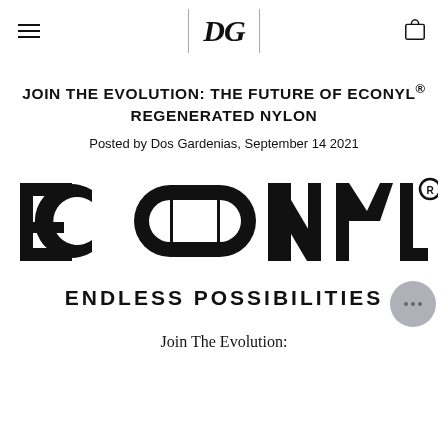DG navigation header with menu, DG logo, and bag icon
JOIN THE EVOLUTION: THE FUTURE OF ECONYL® REGENERATED NYLON
Posted by Dos Gardenias, September 14 2021
[Figure (logo): ECONYL® ENDLESS POSSIBILITIES logo in black on white background]
Join The Evolution: